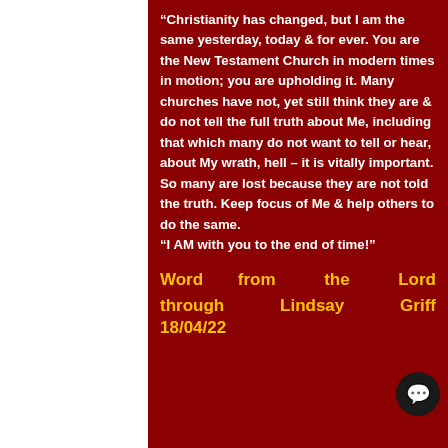“Christianity has changed, but I am the same yesterday, today & for ever. You are the New Testament Church in modern times in motion; you are upholding it. Many churches have not, yet still think they are & do not tell the full truth about Me, including that which many do not want to tell or hear, about My wrath, hell – it is vitally important. So many are lost because they are not told the truth. Keep focus of Me & help others to do the same. “I AM with you to the end of time!”
Word from the Lord through Lindsay Griff... 18/04/22